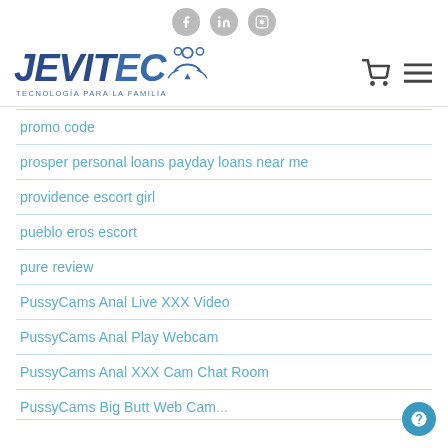JEVITEC — TECNOLOGÍA PARA LA FAMILIA (website header with social icons and navigation)
promo code
prosper personal loans payday loans near me
providence escort girl
pueblo eros escort
pure review
PussyCams Anal Live XXX Video
PussyCams Anal Play Webcam
PussyCams Anal XXX Cam Chat Room
PussyCams Big Butt Web Cam